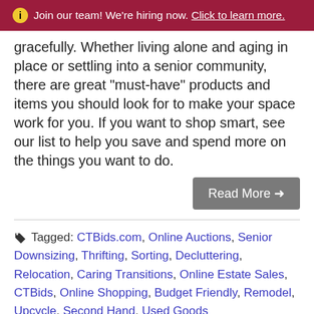Join our team! We're hiring now. Click to learn more.
gracefully. Whether living alone and aging in place or settling into a senior community, there are great "must-have" products and items you should look for to make your space work for you. If you want to shop smart, see our list to help you save and spend more on the things you want to do.
Read More →
Tagged: CTBids.com, Online Auctions, Senior Downsizing, Thrifting, Sorting, Decluttering, Relocation, Caring Transitions, Online Estate Sales, CTBids, Online Shopping, Budget Friendly, Remodel, Upcycle, Second Hand, Used Goods
The Guys Guide to Resale Gadgets &